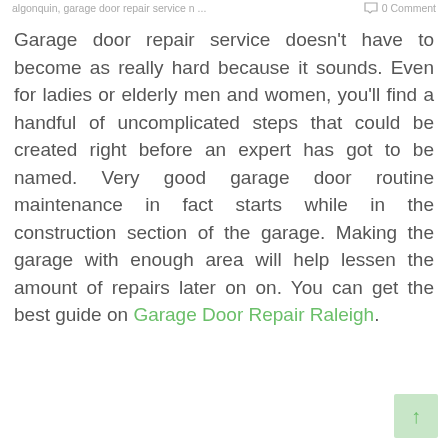algonquin, garage door repair service n ... 0 Comment
Garage door repair service doesn't have to become as really hard because it sounds. Even for ladies or elderly men and women, you'll find a handful of uncomplicated steps that could be created right before an expert has got to be named. Very good garage door routine maintenance in fact starts while in the construction section of the garage. Making the garage with enough area will help lessen the amount of repairs later on on. You can get the best guide on Garage Door Repair Raleigh.